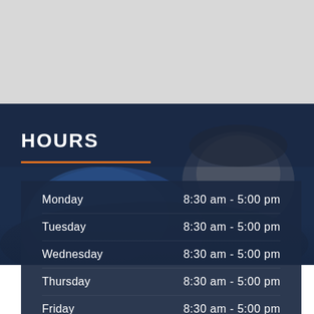[Figure (photo): Blurred photo of a mechanic in a blue shirt working under a car hood, dark blue toned background]
HOURS
| Day | Hours |
| --- | --- |
| Monday | 8:30 am - 5:00 pm |
| Tuesday | 8:30 am - 5:00 pm |
| Wednesday | 8:30 am - 5:00 pm |
| Thursday | 8:30 am - 5:00 pm |
| Friday | 8:30 am - 5:00 pm |
| Saturday | Closed |